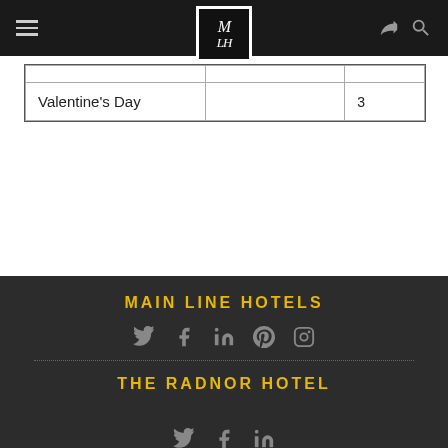[Figure (screenshot): Navigation bar with hamburger menu, Main Line Hotels logo (MLH script in black square with white border), share icon, and search icon on dark background]
| Valentine's Day |  | 3 |
MAIN LINE HOTELS
[Figure (infographic): Social media icons row: Twitter, Facebook, LinkedIn, Pinterest, Instagram in gray on dark background]
THE RADNOR HOTEL
[Figure (infographic): Social media icons row: Twitter, Facebook, LinkedIn in gray on dark background]